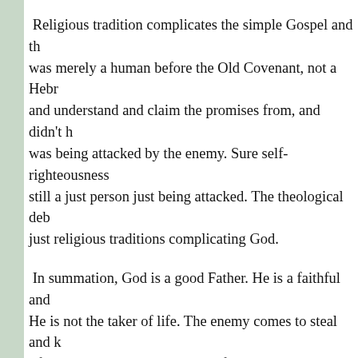Religious tradition complicates the simple Gospel and th... was merely a human before the Old Covenant, not a Hebr... and understand and claim the promises from, and didn't h... was being attacked by the enemy. Sure self-righteousness... still a just person just being attacked. The theological deb... just religious traditions complicating God.
In summation, God is a good Father. He is a faithful and... He is not the taker of life. The enemy comes to steal and ... life more abundantly, to the overflow.
God isn't giving the enemy permission to do anything. T... accuser, the tempter, the "condemner", the liar. The enem... doing all the will of God. The good news is Jesus defeate... for you and me. At the name of Jesus, the enemy scatters.... the Finished Work, who we are and whose we are he flees... conquerors and are world overcomers through Christ!